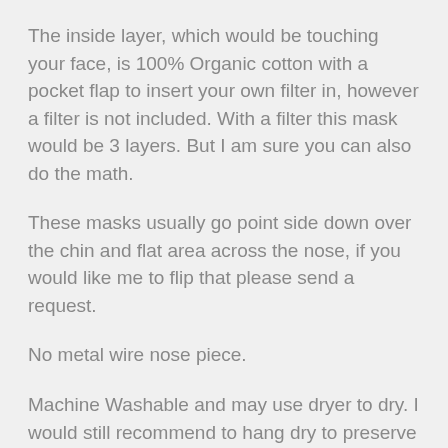The inside layer, which would be touching your face, is 100% Organic cotton with a pocket flap to insert your own filter in, however a filter is not included. With a filter this mask would be 3 layers. But I am sure you can also do the math.
These masks usually go point side down over the chin and flat area across the nose, if you would like me to flip that please send a request.
No metal wire nose piece.
Machine Washable and may use dryer to dry. I would still recommend to hang dry to preserve the life of the elastic. Their is also the possibility for the elastic to become tangled in the dryer.